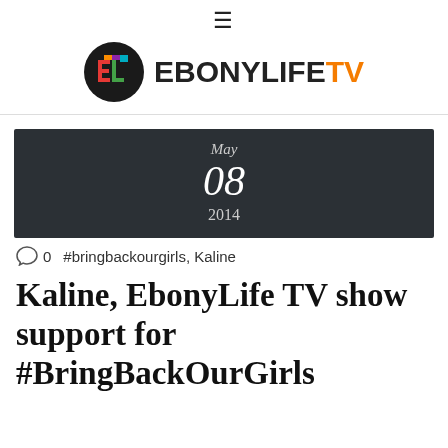≡ EBONYLIFE TV
[Figure (logo): EbonyLife TV logo: black circle with colorful EL letters, followed by EBONYLIFE in dark and TV in orange]
May 08 2014
0  #bringbackourgirls, Kaline
Kaline, EbonyLife TV show support for #BringBackOurGirls